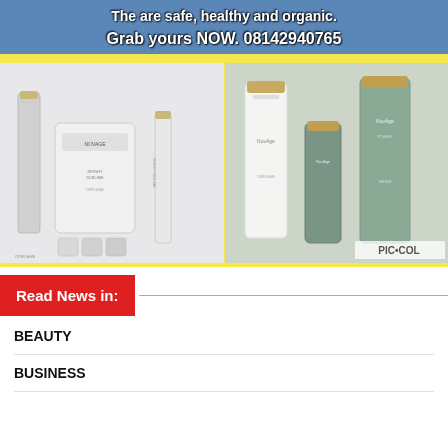The are safe, healthy and organic.
Grab yours NOW. 08142940765
[Figure (photo): Two product display images side by side showing NovAge skincare products. Left panel shows white/silver packaged products (Bright Sublime Oriflame line). Right panel shows green/teal bottles and tubes of NovAge products with gold caps. PIC·COL label visible in bottom right corner.]
Read News in:
BEAUTY
BUSINESS